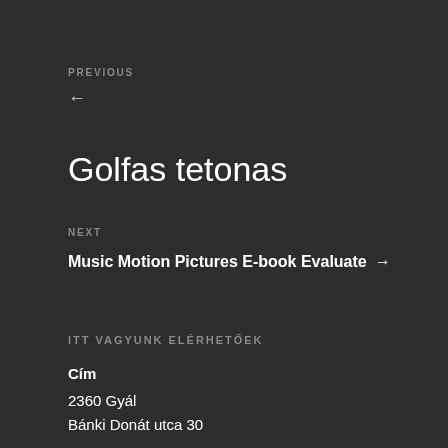PREVIOUS
←
Golfas tetonas
NEXT
Music Motion Pictures E-book Evaluate →
ITT VAGYUNK ELÉRHETŐEK
Cím
2360 Gyál
Bánki Donát utca 30